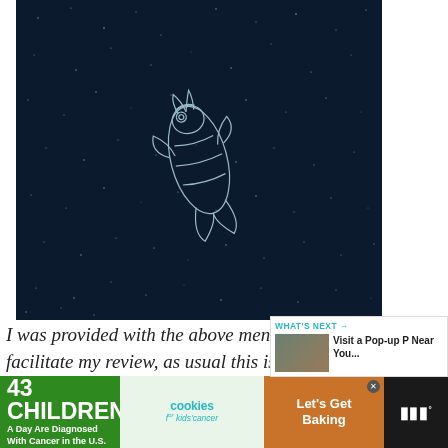[Figure (illustration): Dark navy starfield background with a white line-art illustration of a fish or koi in the center, rendered in an outline/etching style.]
[Figure (other): Circular teal heart/like button with count of 2, and a circular share button below it.]
I was provided with the above mentioned products in order to facilitate my review, as usual this is a personal blog and all thoughts and o...
[Figure (screenshot): What's Next widget with teal header arrow, thumbnail image, and title 'Visit a Pop-up P Near You...']
[Figure (infographic): Ad banner: '43 CHILDREN A Day Are Diagnosed With Cancer in the U.S.' on green left, cookies for kids cancer in center, Let's Get Baking on orange right, with an X close button and Tidal logo.]